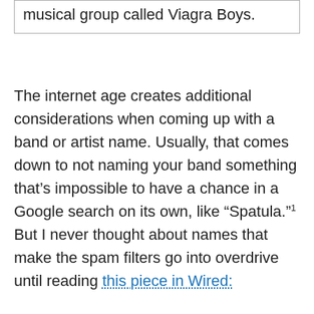musical group called Viagra Boys.
The internet age creates additional considerations when coming up with a band or artist name. Usually, that comes down to not naming your band something that's impossible to have a chance in a Google search on its own, like “Spatula.”¹ But I never thought about names that make the spam filters go into overdrive until reading this piece in Wired: